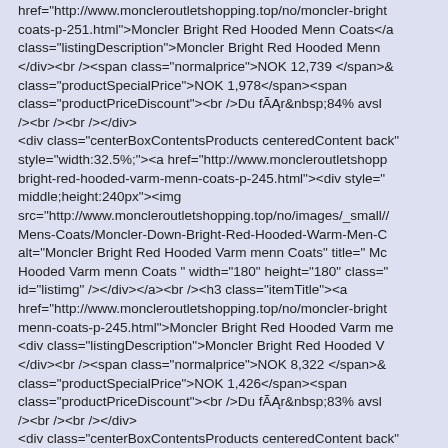href="http://www.moncleroutletshopping.top/no/moncler-bright-coats-p-251.html">Moncler Bright Red Hooded Menn Coats</a class="listingDescription">Moncler Bright Red Hooded Menn </div><br /><span class="normalprice">NOK 12,739 </span>& class="productSpecialPrice">NOK 1,978</span><span class="productPriceDiscount"><br />Du fÃĄr&nbsp;84% avsl /><br /><br /></div>
<div class="centerBoxContentsProducts centeredContent back" style="width:32.5%;"><a href="http://www.moncleroutletshopp bright-red-hooded-varm-menn-coats-p-245.html"><div style=" middle;height:240px"><img src="http://www.moncleroutletshopping.top/no/images/_small// Mens-Coats/Moncler-Down-Bright-Red-Hooded-Warm-Men-C alt="Moncler Bright Red Hooded Varm menn Coats" title=" Mc Hooded Varm menn Coats " width="180" height="180" class=" id="listimg" /></div></a><br /><h3 class="itemTitle"><a href="http://www.moncleroutletshopping.top/no/moncler-bright menn-coats-p-245.html">Moncler Bright Red Hooded Varm me <div class="listingDescription">Moncler Bright Red Hooded V </div><br /><span class="normalprice">NOK 8,322 </span>& class="productSpecialPrice">NOK 1,426</span><span class="productPriceDiscount"><br />Du fÃĄr&nbsp;83% avsl /><br /><br /></div>
<div class="centerBoxContentsProducts centeredContent back" style="width:32.5%;"><a href="http://www.moncleroutletsho